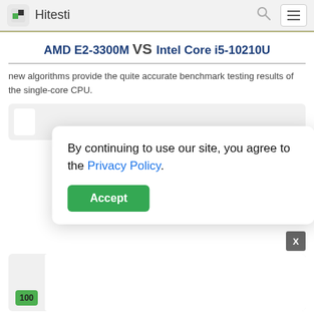Hitesti
AMD E2-3300M VS Intel Core i5-10210U
new algorithms provide the quite accurate benchmark testing results of the single-core CPU.
By continuing to use our site, you agree to the Privacy Policy. Accept